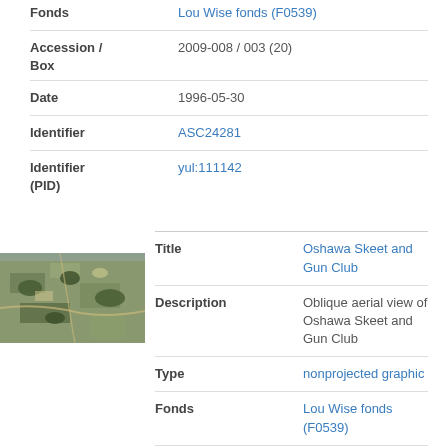| Field | Value |
| --- | --- |
| Fonds | Lou Wise fonds (F0539) |
| Accession / Box | 2009-008 / 003 (20) |
| Date | 1996-05-30 |
| Identifier | ASC24281 |
| Identifier (PID) | yul:111142 |
| Title | Oshawa Skeet and Gun Club |
| Description | Oblique aerial view of Oshawa Skeet and Gun Club |
| Type | nonprojected graphic |
| Fonds | Lou Wise fonds (F0539) |
| Accession / Box | 2009-008 / 003 (20) |
[Figure (photo): Thumbnail aerial photograph of Oshawa Skeet and Gun Club, oblique aerial view showing grounds and surrounding landscape]